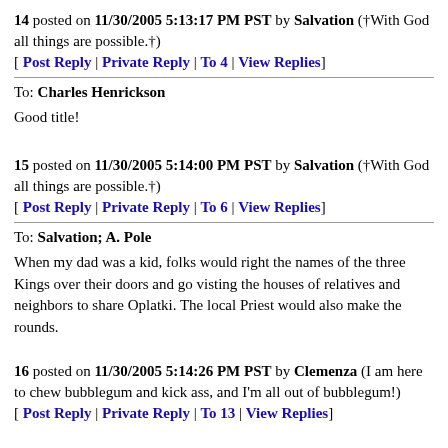14 posted on 11/30/2005 5:13:17 PM PST by Salvation (†With God all things are possible.†)
[ Post Reply | Private Reply | To 4 | View Replies]
To: Charles Henrickson

Good title!
15 posted on 11/30/2005 5:14:00 PM PST by Salvation (†With God all things are possible.†)
[ Post Reply | Private Reply | To 6 | View Replies]
To: Salvation; A. Pole

When my dad was a kid, folks would right the names of the three Kings over their doors and go visting the houses of relatives and neighbors to share Oplatki. The local Priest would also make the rounds.
16 posted on 11/30/2005 5:14:26 PM PST by Clemenza (I am here to chew bubblegum and kick ass, and I'm all out of bubblegum!)
[ Post Reply | Private Reply | To 13 | View Replies]